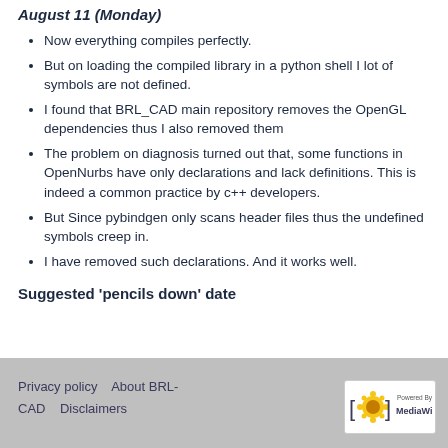August 11 (Monday)
Now everything compiles perfectly.
But on loading the compiled library in a python shell I lot of symbols are not defined.
I found that BRL_CAD main repository removes the OpenGL dependencies thus I also removed them
The problem on diagnosis turned out that, some functions in OpenNurbs have only declarations and lack definitions. This is indeed a common practice by c++ developers.
But Since pybindgen only scans header files thus the undefined symbols creep in.
I have removed such declarations. And it works well.
Suggested 'pencils down' date
Privacy policy   About BRL-CAD   Disclaimers   Powered by MediaWiki